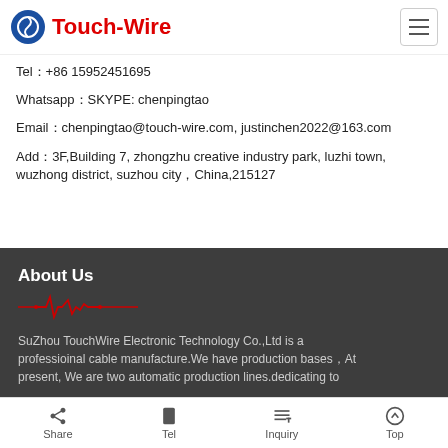Touch-Wire
Tel：+86 15952451695
Whatsapp：SKYPE: chenpingtao
Email：chenpingtao@touch-wire.com, justinchen2022@163.com
Add：3F,Building 7, zhongzhu creative industry park, luzhi town, wuzhong district, suzhou city，China,215127
About Us
[Figure (illustration): Decorative waveform/heartbeat line graphic in red]
SuZhou TouchWire Electronic Technology Co.,Ltd is a professioinal cable manufacture.We have production bases，At present, We are two automatic production lines.dedicating to
Share | Tel | Inquiry | Top